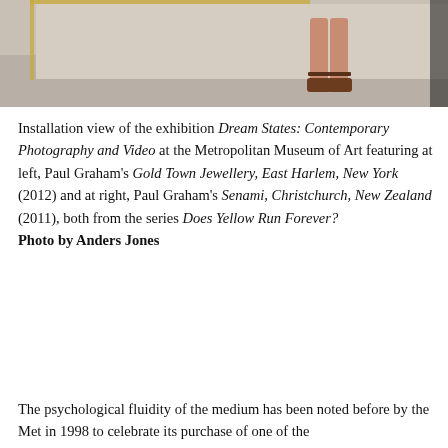[Figure (photo): Installation view of exhibition showing partial view of a person's legs and feet in sandals standing on a concrete floor near framed artworks on a wall]
Installation view of the exhibition Dream States: Contemporary Photography and Video at the Metropolitan Museum of Art featuring at left, Paul Graham's Gold Town Jewellery, East Harlem, New York (2012) and at right, Paul Graham's Senami, Christchurch, New Zealand (2011), both from the series Does Yellow Run Forever?
Photo by Anders Jones
The psychological fluidity of the medium has been noted before by the Met in 1998 to celebrate its purchase of one of the